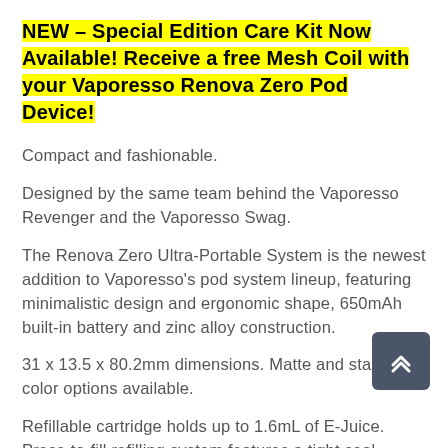NEW – Special Edition Care Kit Now Available! Receive a free Mesh Coil with your Vaporesso Renova Zero Pod Device!
Compact and fashionable.
Designed by the same team behind the Vaporesso Revenger and the Vaporesso Swag.
The Renova Zero Ultra-Portable System is the newest addition to Vaporesso's pod system lineup, featuring minimalistic design and ergonomic shape, 650mAh built-in battery and zinc alloy construction.
31 x 13.5 x 80.2mm dimensions. Matte and stainless color options available.
Refillable cartridge holds up to 1.6mL of E-Juice. Press-to-fill refilling system features a tight seal created to prevent leakage